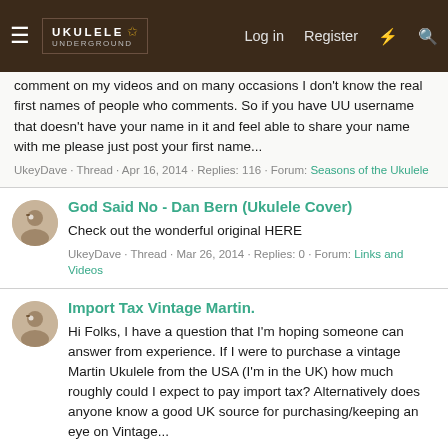Ukulele Underground - Log in  Register
comment on my videos and on many occasions I don't know the real first names of people who comments. So if you have UU username that doesn't have your name in it and feel able to share your name with me please just post your first name...
UkeyDave · Thread · Apr 16, 2014 · Replies: 116 · Forum: Seasons of the Ukulele
God Said No - Dan Bern (Ukulele Cover)
Check out the wonderful original HERE
UkeyDave · Thread · Mar 26, 2014 · Replies: 0 · Forum: Links and Videos
Import Tax Vintage Martin.
Hi Folks, I have a question that I'm hoping someone can answer from experience. If I were to purchase a vintage Martin Ukulele from the USA (I'm in the UK) how much roughly could I expect to pay import tax? Alternatively does anyone know a good UK source for purchasing/keeping an eye on Vintage...
UkeyDave · Thread · Mar 26, 2014 · Replies: 19 · Forum: Ukulele Marketplace